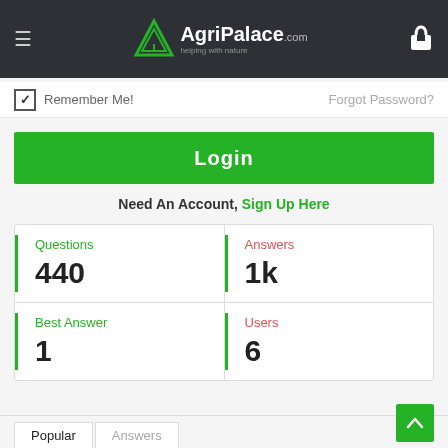AgriPalace.com – helping with nature
✓ Remember Me!   Forgot Password?
Login
Need An Account, Sign Up Here
|  |  |
| --- | --- |
| Questions 440 | Answers 1k |
| Best Answer 1 | Users 6 |
Popular   Answers